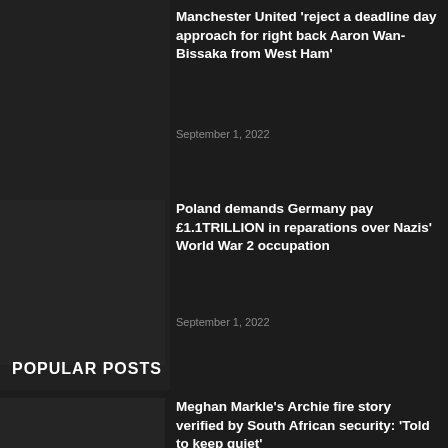Manchester United 'reject a deadline day approach for right back Aaron Wan-Bissaka from West Ham'
September 1, 2022
Poland demands Germany pay £1.1TRILLION in reparations over Nazis' World War 2 occupation
September 1, 2022
POPULAR POSTS
Meghan Markle's Archie fire story verified by South African security: 'Told to keep quiet'
September 1, 2022
Manchester United 'reject a deadline day approach for right back Aaron Wan-